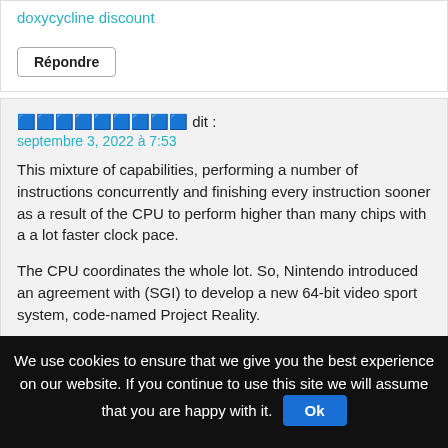doxycycline discount
Répondre
🟦🟦🟦🟦🟦🟦🟦🟦🟦 dit :
septembre 3, 2022 à 7:53
This mixture of capabilities, performing a number of instructions concurrently and finishing every instruction sooner as a result of the CPU to perform higher than many chips with a a lot faster clock pace.
The CPU coordinates the whole lot. So, Nintendo introduced an agreement with (SGI) to develop a new 64-bit video sport system, code-named Project Reality.
Likelihood is that you've got played on, or a minimum of seen, one of the three generations of residence video sport systems the company has created, not to say the enormously standard hand-held recreation system, the Gameboy
We use cookies to ensure that we give you the best experience on our website. If you continue to use this site we will assume that you are happy with it. Ok